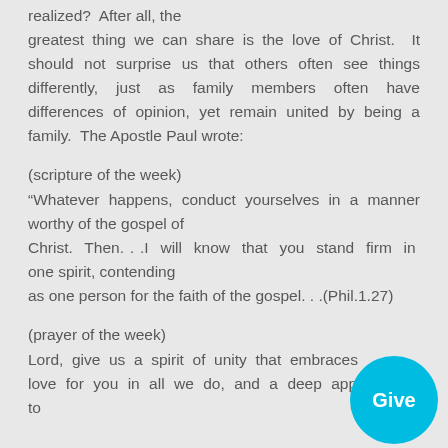realized?  After all, the greatest thing we can share is the love of Christ.  It should not surprise us that others often see things differently,  just  as  family  members  often  have differences of opinion, yet remain united by being a family.  The Apostle Paul wrote:
(scripture of the week)
“Whatever  happens,  conduct  yourselves  in  a  manner worthy of the gospel of Christ.  Then. . .I will know that you stand firm in one spirit, contending as one person for the faith of the gospel. . .(Phil.1.27)
(prayer of the week)
Lord, give  us  a  spirit  of  unity  that  embraces      p love  for  you  in  all  we  do,  and  a  deep  appreciation  to